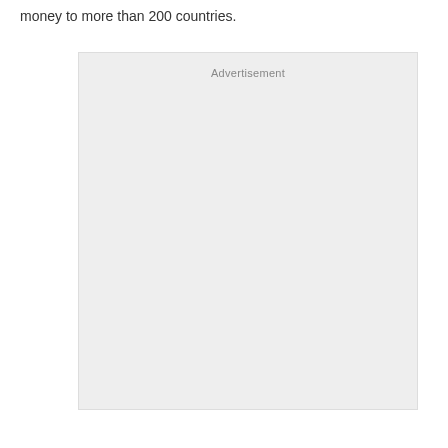money to more than 200 countries.
[Figure (other): Advertisement placeholder box with light gray background and 'Advertisement' label at top center]